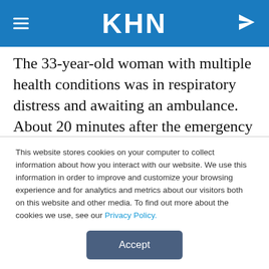KHN
The 33-year-old woman with multiple health conditions was in respiratory distress and awaiting an ambulance. About 20 minutes after the emergency call, it arrived.
The Cuthbert home where Gipson lived was less than a mile from Southwest Georgia Regional Medical Center, but the ambulance couldn't take her
This website stores cookies on your computer to collect information about how you interact with our website. We use this information in order to improve and customize your browsing experience and for analytics and metrics about our visitors both on this website and other media. To find out more about the cookies we use, see our Privacy Policy.